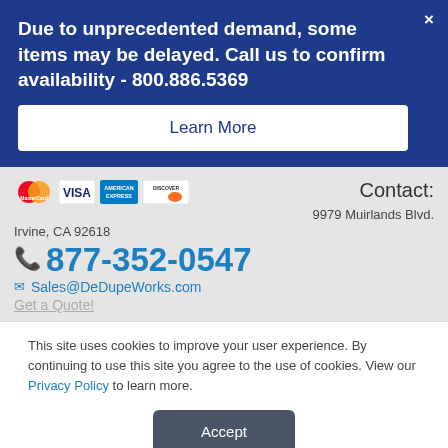Due to unprecedented demand, some items may be delayed. Call us to confirm availability - 800.886.5369
Learn More
Contact: 9979 Muirlands Blvd. Irvine, CA 92618
877-352-0547
Sales@DeDupeWorks.com
Get a Quote!
This site uses cookies to improve your user experience. By continuing to use this site you agree to the use of cookies. View our Privacy Policy to learn more.
Accept